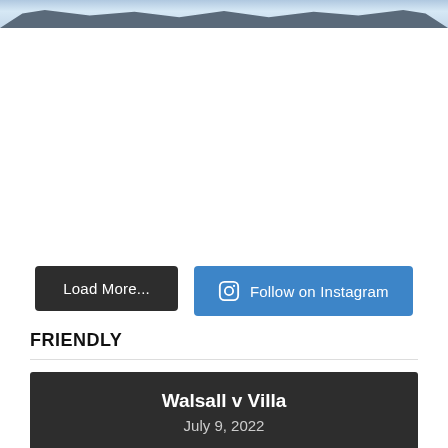[Figure (photo): Stadium aerial photo at top of page]
Load More...
Follow on Instagram
FRIENDLY
Walsall v Villa
July 9, 2022